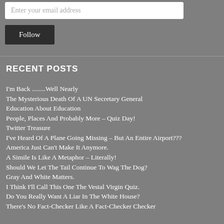[Figure (screenshot): Email input field with placeholder text 'Enter your email address']
[Figure (screenshot): Dark 'Follow' button]
RECENT POSTS
I'm Back ........Well Nearly
The Mysterious Death Of A UN Secretary General
Education About Education
People, Places And Probably More – Quiz Day!
Twitter Treasure
I've Heard Of A Plane Going Missing – But An Entire Airport???
America Just Can't Make It Anymore.
A Simile Is Like A Metaphor – Literally!
Should We Let The Tail Continue To Wag The Dog?
Gray And White Matters.
I Think I'll Call This One The Vestal Virgin Quiz.
Do You Really Want A Liar In The White House?
There's No Fact-Checker Like A Fact-Checker Checker